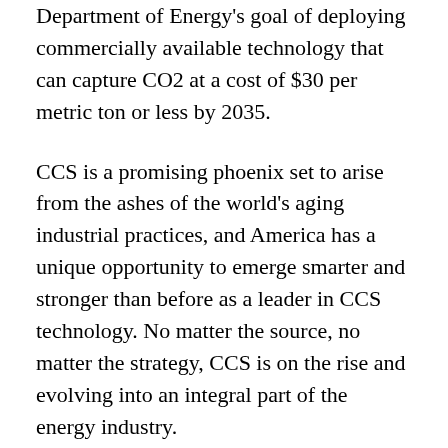Department of Energy's goal of deploying commercially available technology that can capture CO2 at a cost of $30 per metric ton or less by 2035.
CCS is a promising phoenix set to arise from the ashes of the world's aging industrial practices, and America has a unique opportunity to emerge smarter and stronger than before as a leader in CCS technology. No matter the source, no matter the strategy, CCS is on the rise and evolving into an integral part of the energy industry.
This article was written and submitted by Hattie Guidry, Arielle Anderson, Jourdan Curet, and Kristi Obafunwa with Kean Miller LLP.  Kean Miller LLP is a full-service law firm located in Texas and Louisiana that counsels clients on a wide variety of substantive legal areas and state and federal laws, including a specialized practice in